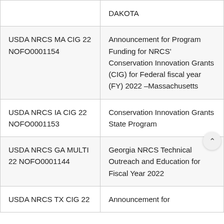| Grant ID | Description |
| --- | --- |
|  | DAKOTA |
| USDA NRCS MA CIG 22 NOFO0001154 | Announcement for Program Funding for NRCS' Conservation Innovation Grants (CIG) for Federal fiscal year (FY) 2022 –Massachusetts |
| USDA NRCS IA CIG 22 NOFO0001153 | Conservation Innovation Grants State Program |
| USDA NRCS GA MULTI 22 NOFO0001144 | Georgia NRCS Technical Outreach and Education for Fiscal Year 2022 |
| USDA NRCS TX CIG 22 | Announcement for |